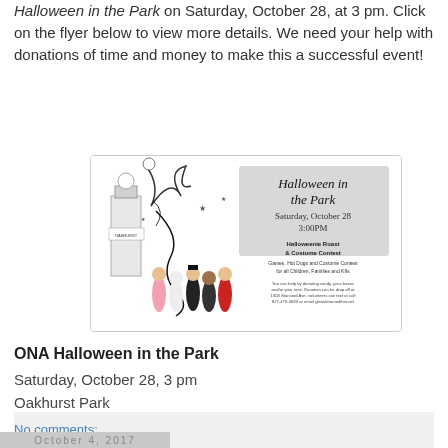Halloween in the Park on Saturday, October 28, at 3 pm. Click on the flyer below to view more details.  We need your help with donations of time and money to make this a successful event!
[Figure (illustration): Halloween in the Park event flyer showing cartoon children in costumes in front of Oakhurst Park gate, with event details: Saturday, October 28, 3:00PM, Halloweenie Roast & Costume Contest, Games, Hot Dogs and Costume Contest for all Children, Families and K9s]
ONA Halloween in the Park
Saturday, October 28, 3 pm
Oakhurst Park
No comments:
Share
October 4, 2017